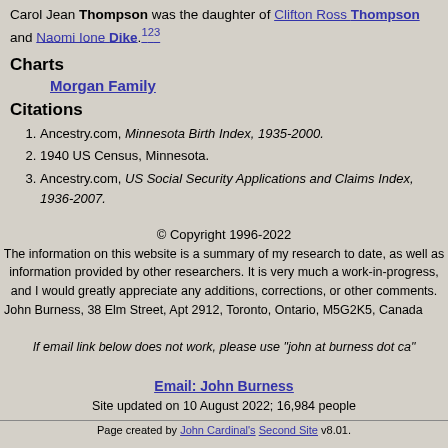Carol Jean Thompson was the daughter of Clifton Ross Thompson and Naomi Ione Dike.1,2,3
Charts
Morgan Family
Citations
1. Ancestry.com, Minnesota Birth Index, 1935-2000.
2. 1940 US Census, Minnesota.
3. Ancestry.com, US Social Security Applications and Claims Index, 1936-2007.
© Copyright 1996-2022
The information on this website is a summary of my research to date, as well as information provided by other researchers. It is very much a work-in-progress, and I would greatly appreciate any additions, corrections, or other comments.
John Burness, 38 Elm Street, Apt 2912, Toronto, Ontario, M5G2K5, Canada
If email link below does not work, please use "john at burness dot ca"
Email: John Burness
Site updated on 10 August 2022; 16,984 people
Page created by John Cardinal's Second Site v8.01.